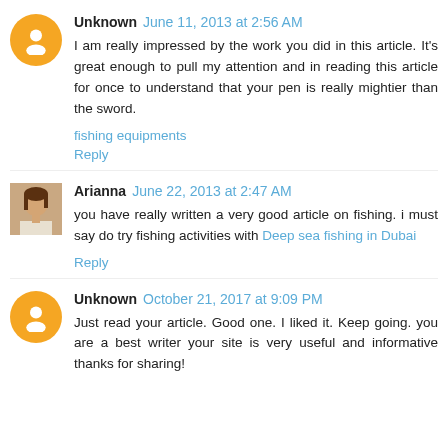Unknown  June 11, 2013 at 2:56 AM
I am really impressed by the work you did in this article. It's great enough to pull my attention and in reading this article for once to understand that your pen is really mightier than the sword.
fishing equipments
Reply
Arianna  June 22, 2013 at 2:47 AM
you have really written a very good article on fishing. i must say do try fishing activities with Deep sea fishing in Dubai
Reply
Unknown  October 21, 2017 at 9:09 PM
Just read your article. Good one. I liked it. Keep going. you are a best writer your site is very useful and informative thanks for sharing!